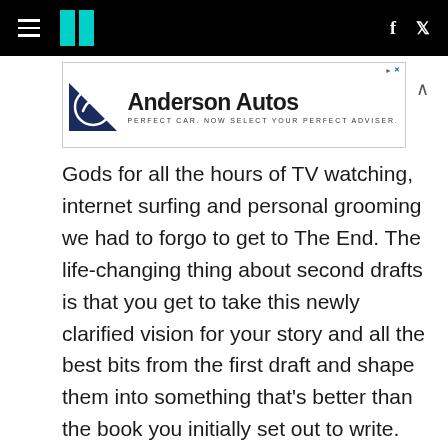HuffPost navigation with hamburger menu, logo, Facebook and Twitter icons
[Figure (other): Anderson Autos advertisement banner: circle logo with mountain/wave mark, text 'Anderson Autos', tagline 'PERFECT CAR. NOW SELECT YOUR PERFECT ADVISER.']
Gods for all the hours of TV watching, internet surfing and personal grooming we had to forgo to get to The End. The life-changing thing about second drafts is that you get to take this newly clarified vision for your story and all the best bits from the first draft and shape them into something that's better than the book you initially set out to write. And the third draft gets even more powerful. Which means that most important thing someone can do in the early phase of book writing is to turn off their inner editor and just focus on getting a beginning, middle and end